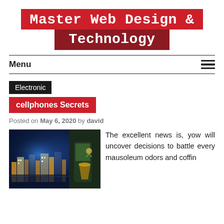Master Web Design & Technology
Menu
Electronic
cellphones Secrets
Posted on May 6, 2020 by david
[Figure (photo): Photo of a city night scene displayed on a smartphone screen, with colorful buildings lit up at night, next to a drink with garnish in background.]
The excellent news is, yow will uncover decisions to battle every mausoleum odors and coffin